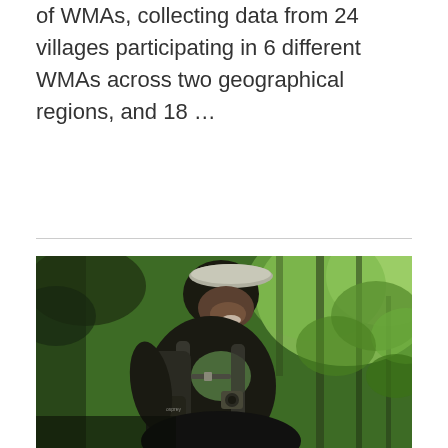of WMAs, collecting data from 24 villages participating in 6 different WMAs across two geographical regions, and 18 …
[Figure (photo): A young man wearing a cap and backpack smiling, photographed from slightly above in a forest setting with green foliage and trees in the background.]